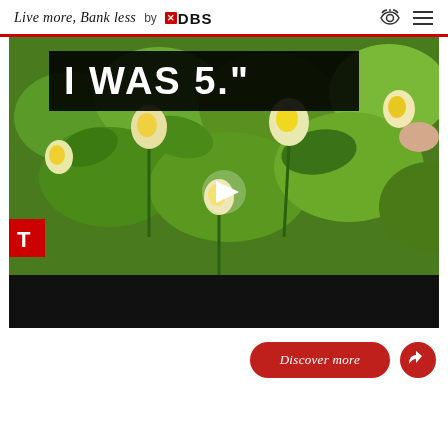Live more. Bank less by DBS
[Figure (screenshot): Video thumbnail showing yellow and white flowers with green foliage in background. Large white bold text on black bar reads 'I WAS 5.' with a play button visible. A red tag with letter T appears at lower left. Bottom portion is black.]
Discover more